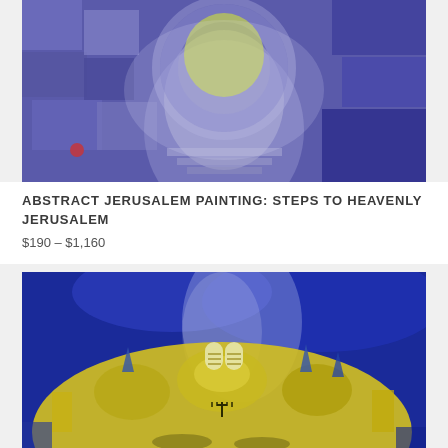[Figure (photo): Abstract painting of Steps to Heavenly Jerusalem — purple and blue tones with an arched doorway, stone textures, and yellow-green accent colors]
ABSTRACT JERUSALEM PAINTING: STEPS TO HEAVENLY JERUSALEM
$190 – $1,160
[Figure (photo): Abstract painting of Jerusalem cityscape — vivid yellow and blue palette with domes, menorahs, Ten Commandments tablets, and swirling sky]